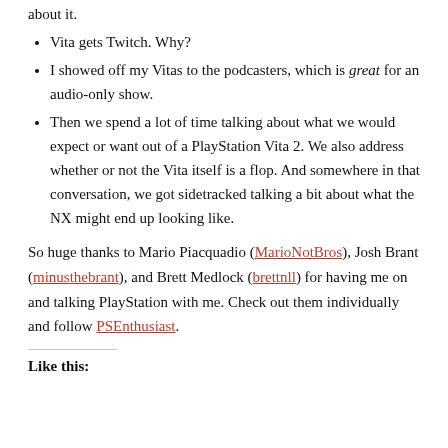about it.
Vita gets Twitch. Why?
I showed off my Vitas to the podcasters, which is great for an audio-only show.
Then we spend a lot of time talking about what we would expect or want out of a PlayStation Vita 2. We also address whether or not the Vita itself is a flop. And somewhere in that conversation, we got sidetracked talking a bit about what the NX might end up looking like.
So huge thanks to Mario Piacquadio (MarioNotBros), Josh Brant (minusthebrant), and Brett Medlock (brettnll) for having me on and talking PlayStation with me. Check out them individually and follow PSEnthusiast.
Like this: